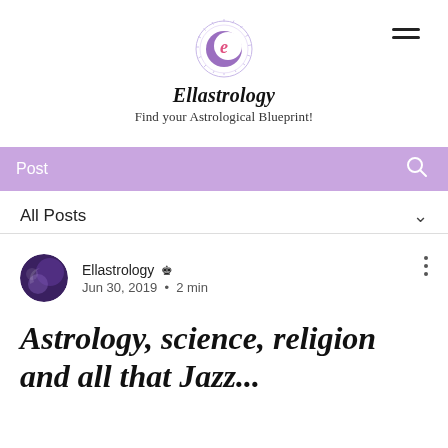Ellastrology — Find your Astrological Blueprint!
Post
All Posts
Ellastrology 👑 Jun 30, 2019 · 2 min
Astrology, science, religion and all that Jazz...